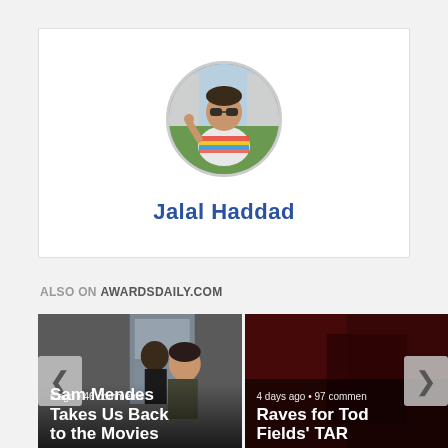[Figure (photo): Circular avatar photo of Jalal Haddad, a person wearing a striped t-shirt and sunglasses, outdoors near stone columns]
Jalal Haddad
ALSO ON AWARDSDAILY.COM
[Figure (photo): Article card image: two people in a doorway, partially covered by navigation arrow. Caption: 's ago • 46 comments / Sam Mendes Takes Us Back to the Movies']
[Figure (photo): Article card image: dark red/brown background, partially cut off. Caption: '4 days ago • 97 comments / Raves for Tod Fields' TAR']